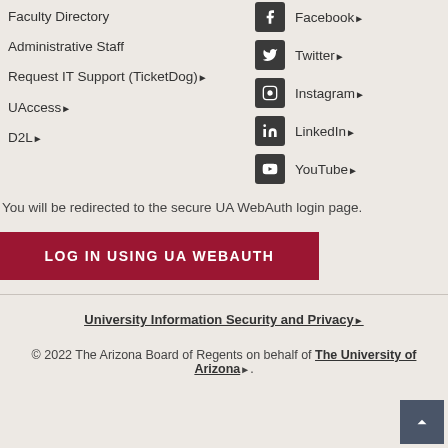Faculty Directory
Administrative Staff
Request IT Support (TicketDog)↗
UAccess↗
D2L↗
Facebook↗
Twitter↗
Instagram↗
LinkedIn↗
YouTube↗
You will be redirected to the secure UA WebAuth login page.
LOG IN USING UA WEBAUTH
University Information Security and Privacy↗
© 2022 The Arizona Board of Regents on behalf of The University of Arizona↗.